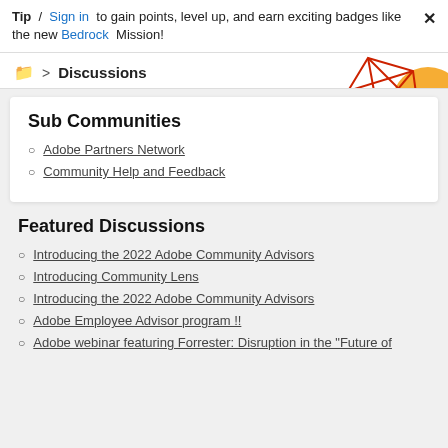Tip / Sign in to gain points, level up, and earn exciting badges like the new Bedrock Mission!
Discussions
[Figure (illustration): Decorative geometric red lines and orange circle shape in top right corner]
Sub Communities
Adobe Partners Network
Community Help and Feedback
Featured Discussions
Introducing the 2022 Adobe Community Advisors
Introducing Community Lens
Introducing the 2022 Adobe Community Advisors
Adobe Employee Advisor program !!
Adobe webinar featuring Forrester: Disruption in the "Future of